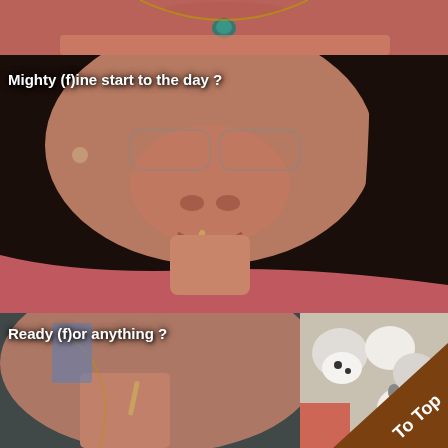[Figure (photo): Top portion of a photo showing a person with a teal pendant necklace against a salmon/reddish background]
[Figure (photo): Close-up photo of a woman smiling, holding something in her mouth, wearing a pink/red shirt, with dark hair, text overlay reads 'Mighty (f)ine start to the day ?']
Mighty (f)ine start to the day ?
[Figure (photo): Photo of a woman smiling with something in her mouth, stuffed animals visible in background, brown triangular 'To Top' badge overlay in bottom right corner, text overlay reads 'Ready (f)or anything ?']
Ready (f)or anything ?
To Top